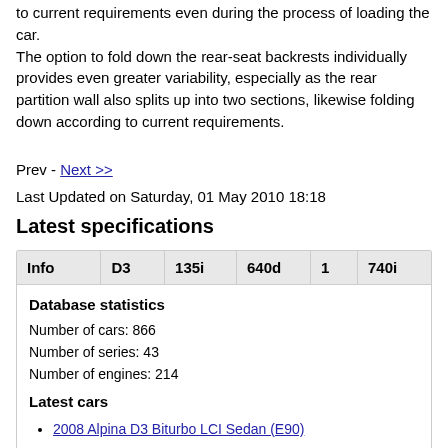to current requirements even during the process of loading the car.
The option to fold down the rear-seat backrests individually provides even greater variability, especially as the rear partition wall also splits up into two sections, likewise folding down according to current requirements.
Prev - Next >>
Last Updated on Saturday, 01 May 2010 18:18
Latest specifications
| Info | D3 | 135i | 640d | 1 | 740i |
| --- | --- | --- | --- | --- | --- |
Database statistics
Number of cars: 866
Number of series: 43
Number of engines: 214
Latest cars
2008 Alpina D3 Biturbo LCI Sedan (E90)